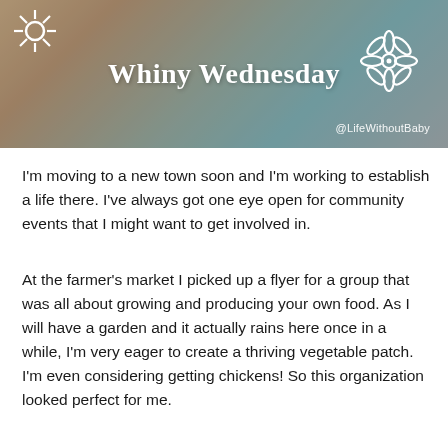[Figure (photo): Banner image showing a child's legs in teal/turquoise socks with text overlay 'Whiny Wednesday', a flower icon, and '@LifeWithoutBaby' handle. Background photo shows a child sitting.]
I'm moving to a new town soon and I'm working to establish a life there. I've always got one eye open for community events that I might want to get involved in.
At the farmer's market I picked up a flyer for a group that was all about growing and producing your own food. As I will have a garden and it actually rains here once in a while, I'm very eager to create a thriving vegetable patch. I'm even considering getting chickens! So this organization looked perfect for me.